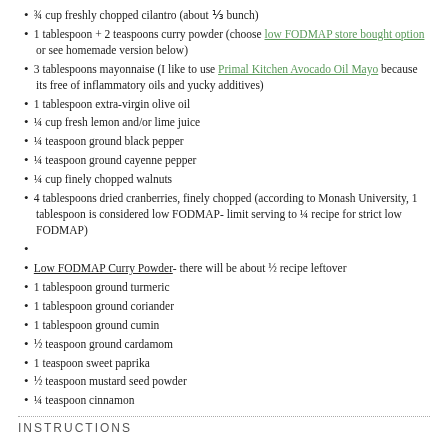¾ cup freshly chopped cilantro (about ⅓ bunch)
1 tablespoon + 2 teaspoons curry powder (choose low FODMAP store bought option or see homemade version below)
3 tablespoons mayonnaise (I like to use Primal Kitchen Avocado Oil Mayo because its free of inflammatory oils and yucky additives)
1 tablespoon extra-virgin olive oil
¼ cup fresh lemon and/or lime juice
¼ teaspoon ground black pepper
¼ teaspoon ground cayenne pepper
¼ cup finely chopped walnuts
4 tablespoons dried cranberries, finely chopped (according to Monash University, 1 tablespoon is considered low FODMAP- limit serving to ¼ recipe for strict low FODMAP)
Low FODMAP Curry Powder- there will be about ½ recipe leftover
1 tablespoon ground turmeric
1 tablespoon ground coriander
1 tablespoon ground cumin
½ teaspoon ground cardamom
1 teaspoon sweet paprika
½ teaspoon mustard seed powder
¼ teaspoon cinnamon
INSTRUCTIONS